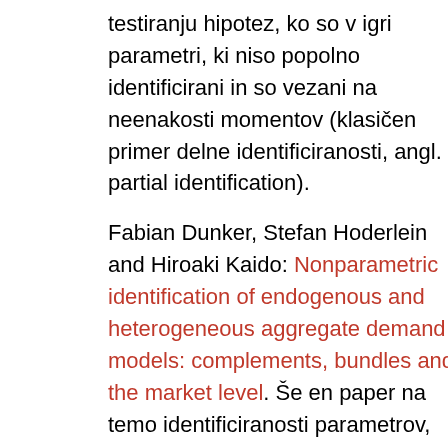testiranju hipotez, ko so v igri parametri, ki niso popolno identificirani in so vezani na neenakosti momentov (klasičen primer delne identificiranosti, angl. partial identification).
Fabian Dunker, Stefan Hoderlein and Hiroaki Kaido: Nonparametric identification of endogenous and heterogeneous aggregate demand models: complements, bundles and the market level. Še en paper na temo identificiranosti parametrov, tokrat v primeru funkcij...